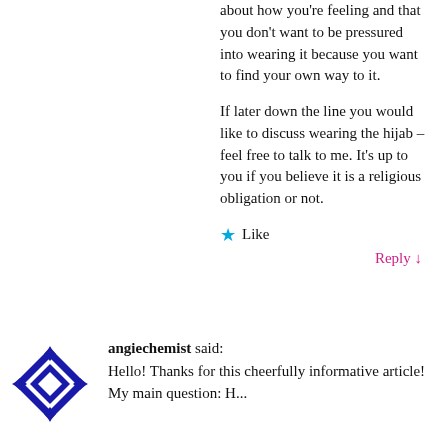about how you're feeling and that you don't want to be pressured into wearing it because you want to find your own way to it.
If later down the line you would like to discuss wearing the hijab – feel free to talk to me. It's up to you if you believe it is a religious obligation or not.
★ Like
Reply ↓
angiechemist said:
Hello! Thanks for this cheerfully informative article!
My main question: H...